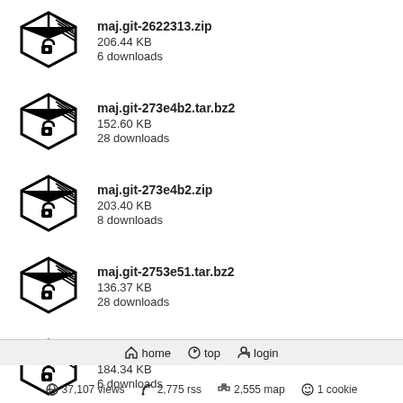maj.git-2622313.zip
206.44 KB
6 downloads
maj.git-273e4b2.tar.bz2
152.60 KB
28 downloads
maj.git-273e4b2.zip
203.40 KB
8 downloads
maj.git-2753e51.tar.bz2
136.37 KB
28 downloads
maj.git-2753e51.zip
184.34 KB
6 downloads
maj.git-2c1a589.tar.bz2
135.89 KB
28 downloads
home  top  login
37,107 views  2,775 rss  2,555 map  1 cookie